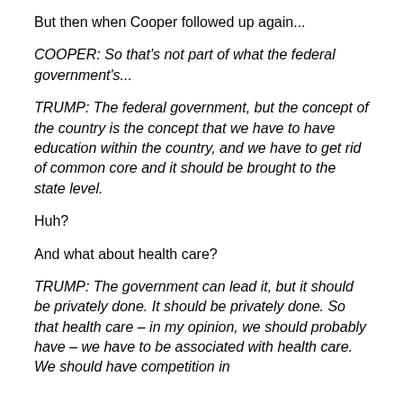But then when Cooper followed up again...
COOPER:  So that's not part of what the federal government's...
TRUMP:  The federal government, but the concept of the country is the concept that we have to have education within the country, and we have to get rid of common core and it should be brought to the state level.
Huh?
And what about health care?
TRUMP:  The government can lead it, but it should be privately done.  It should be privately done.  So that health care – in my opinion, we should probably have – we have to be associated with...We should have competition in